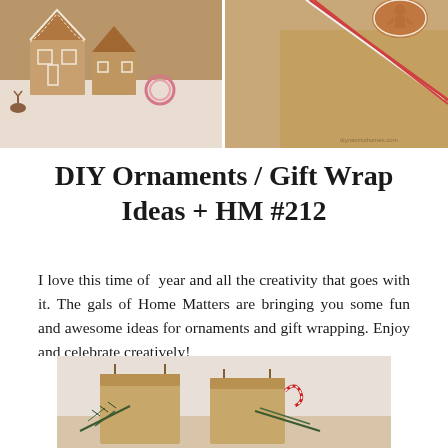[Figure (photo): Two photos side by side at top: left shows gingerbread house decorations with white icing details; right shows a kraft paper gift box with red and white twine.]
DIY Ornaments / Gift Wrap Ideas + HM #212
I love this time of  year and all the creativity that goes with it. The gals of Home Matters are bringing you some fun and awesome ideas for ornaments and gift wrapping. Enjoy and celebrate creatively!
[Figure (photo): Bottom image showing kraft paper gift bags with evergreen/pine branches and a red and white candy cane decoration, on a light background.]